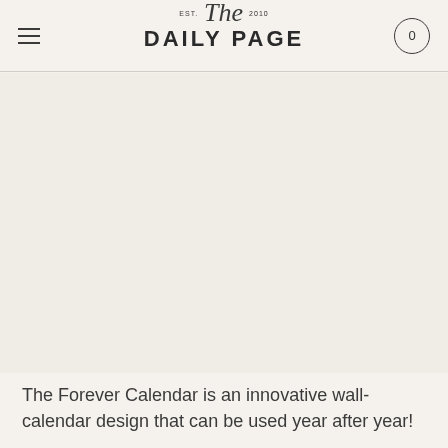EST. The 2010 DAILY PAGE 0
[Figure (photo): Large image area showing a calendar product, appears mostly blank/light colored in this cropped view]
The Forever Calendar is an innovative wall-calendar design that can be used year after year!